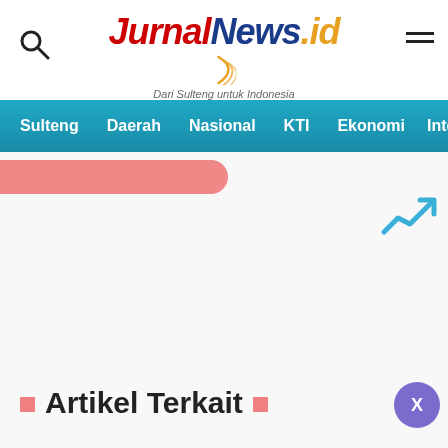JurnalNews.id — Dari Sulteng untuk Indonesia
[Figure (screenshot): Navigation bar with menu items: Sulteng, Daerah, Nasional, KTI, Ekonomi, Inter]
[Figure (illustration): Blue trending upward arrow/chart icon in upper right of content area]
Artikel Terkait